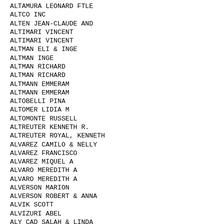ALTAMURA LEONARD FTLE
ALTCO INC
ALTEN JEAN-CLAUDE AND
ALTIMARI VINCENT
ALTIMARI VINCENT
ALTMAN ELI & INGE
ALTMAN INGE
ALTMAN RICHARD
ALTMAN RICHARD
ALTMANN EMMERAM
ALTMANN EMMERAM
ALTOBELLI PINA
ALTOMER LIDIA M
ALTOMONTE RUSSELL
ALTREUTER KENNETH R.
ALTREUTER ROYAL, KENNETH
ALVAREZ CAMILO & NELLY
ALVAREZ FRANCISCO
ALVAREZ MIQUEL A
ALVARO MEREDITH A
ALVARO MEREDITH A
ALVERSON MARION
ALVERSON ROBERT & ANNA
ALVIK SCOTT
ALVIZURI ABEL
ALY CAD  SALAH & LINDA